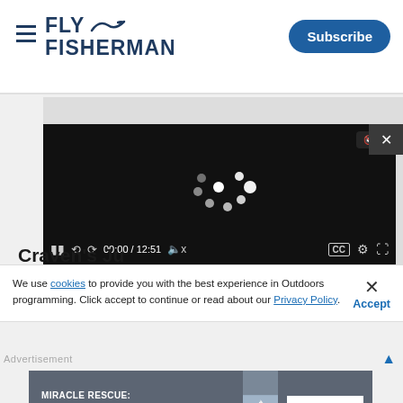FLY FISHERMAN | Subscribe
[Figure (screenshot): Video player showing loading spinner with controls bar showing 00:00 / 12:51, mute button, CC, settings and fullscreen icons. A close (X) button in the top right corner.]
Craven's Ju...
We use cookies to provide you with the best experience in Outdoors programming. Click accept to continue or read about our Privacy Policy.
Advertisement
[Figure (infographic): Advertisement banner: MIRACLE RESCUE: MAN OVERBOARD SURVIVES WITH HELP OF A WHISTLE with sailboat image and LEARN MORE button]